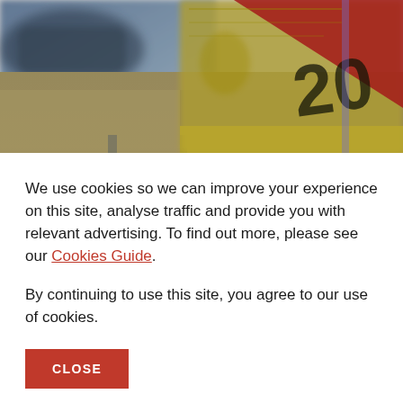[Figure (photo): Background composite image showing an aerial view of a rural Australian airstrip/township with paddocks and roads, overlaid with Australian banknotes (AUD $20 note visible) in the top right, and a blurred vehicle/transport in the top left.]
We use cookies so we can improve your experience on this site, analyse traffic and provide you with relevant advertising. To find out more, please see our Cookies Guide.
By continuing to use this site, you agree to our use of cookies.
CLOSE
to the neighbouring council's request for a contribution